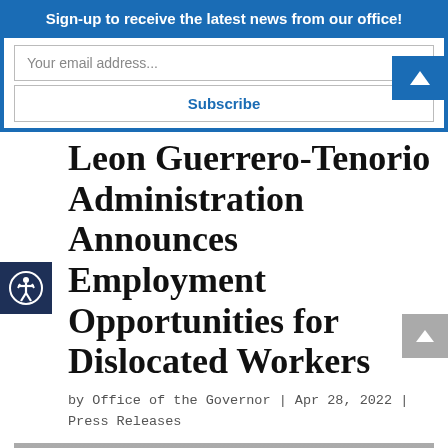Sign-up to receive the latest news from our office!
Your email address...
Subscribe
Leon Guerrero-Tenorio Administration Announces Employment Opportunities for Dislocated Workers
by Office of the Governor | Apr 28, 2022 | Press Releases
[Figure (photo): Two officials standing in front of American and Guam flags]